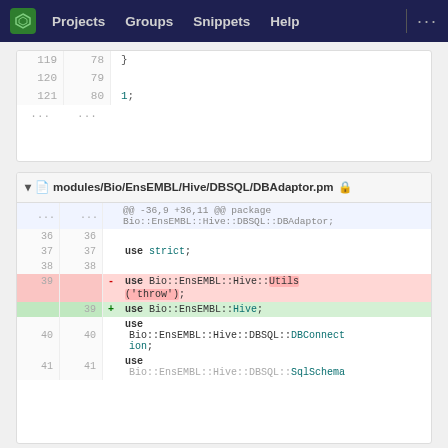Projects  Groups  Snippets  Help  ...
[Figure (screenshot): Code diff panel showing lines 119-121 and ... with closing brace and '1;']
modules/Bio/EnsEMBL/Hive/DBSQL/DBAdaptor.pm
[Figure (screenshot): Code diff panel for DBAdaptor.pm showing diff from line 36-41 with removed 'use Bio::EnsEMBL::Hive::Utils' and added 'use Bio::EnsEMBL::Hive;']